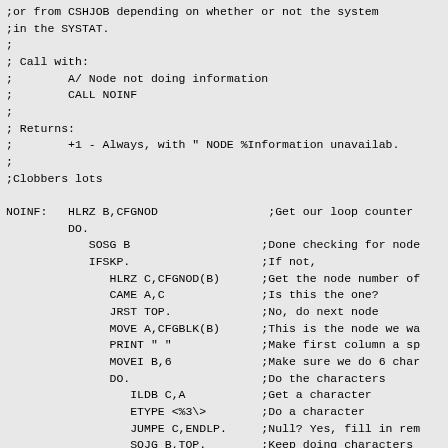;or from CSHJOB depending on whether or not the system
;in the SYSTAT.
;
; Call with:
;        A/ Node not doing information
;        CALL NOINF
;
; Returns:
;        +1 - Always, with " NODE %Information unavailab.
;
;Clobbers lots

NOINF:   HLRZ B,CFGNOD                ;Get our loop counter
         DO.
            SOSG B                   ;Done checking for node
            IFSKP.                   ;If not,
               HLRZ C,CFGNOD(B)      ;Get the node number of
               CAME A,C              ;Is this the one?
               JRST TOP.             ;No, do next node
               MOVE A,CFGBLK(B)      ;This is the node we wa
               PRINT " "            ;Make first column a sp
               MOVEI B,6             ;Make sure we do 6 char
               DO.                   ;Do the characters
                  ILDB C,A           ;Get a character
                  ETYPE <%3\>        ;Do a character
                  JUMPE C,ENDLP.     ;Null? Yes, fill in rem
                  SOJG B,TOP.        ;Keep doing characters
               ENDDO.
               IFG. B                ;More characters to do?
                  DO.                ;Print them out